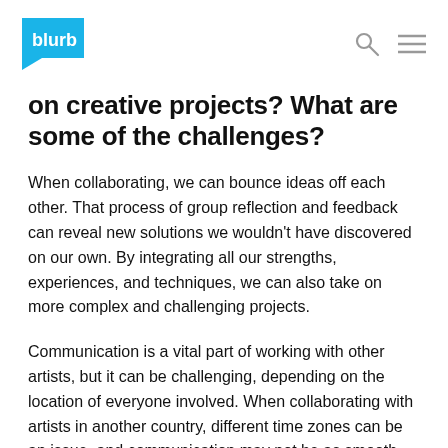blurb [logo with search and menu icons]
on creative projects? What are some of the challenges?
When collaborating, we can bounce ideas off each other. That process of group reflection and feedback can reveal new solutions we wouldn't have discovered on our own. By integrating all our strengths, experiences, and techniques, we can also take on more complex and challenging projects.
Communication is a vital part of working with other artists, but it can be challenging, depending on the location of everyone involved. When collaborating with artists in another country, different time zones can be an issue, and communication may not be as smooth